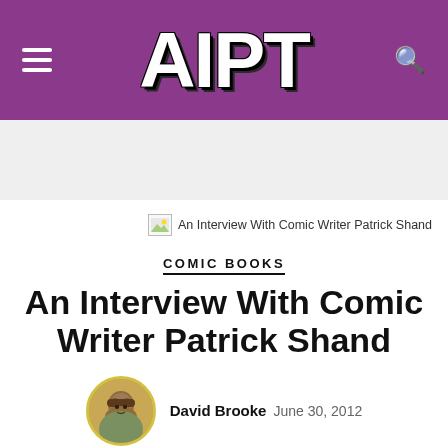AIPT
[Figure (illustration): Broken image icon with alt text: An Interview With Comic Writer Patrick Shand]
COMIC BOOKS
An Interview With Comic Writer Patrick Shand
David Brooke  June 30, 2012